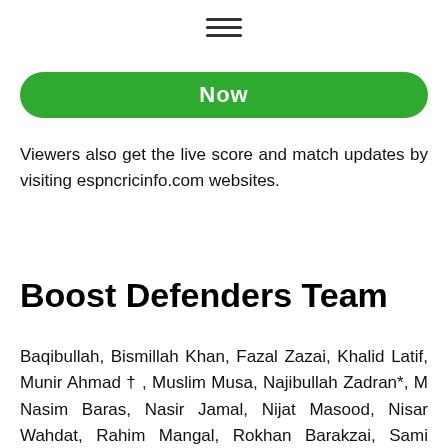[Figure (other): Hamburger menu icon (three horizontal lines)]
[Figure (other): Green rounded button with partial text 'Now']
Viewers also get the live score and match updates by visiting espncricinfo.com websites.
Boost Defenders Team
Baqibullah, Bismillah Khan, Fazal Zazai, Khalid Latif, Munir Ahmad † , Muslim Musa, Najibullah Zadran*, M Nasim Baras, Nasir Jamal, Nijat Masood, Nisar Wahdat, Rahim Mangal, Rokhan Barakzai, Sami Agha, Sayed